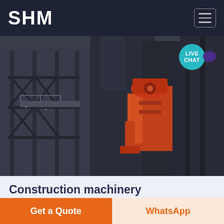SHM
[Figure (photo): Industrial construction machinery scene showing heavy steel structures, scaffolding, and a large orange/red mechanical arm or crusher machine against a dark structure background. Monochromatic industrial setting with one prominent orange machine component.]
Construction machinery equipment service
The world s first and only battery powered rammers for 100 emission free compactioneven
Get a Quote
WhatsApp